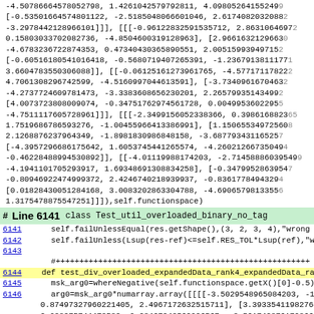-4.50786664578052798, 1.4261042579792811, 4.0980526415524992 [-0.53501664574801122, -2.5185048066601046, 2.61740820320882 -3.2978442128966101]]], [[[-0.96122832591535712, 2.86310646972 0.15803033702082736, -4.8504600319128963], [2.96616321296630 -4.6783236722874353, 0.47340430365890551, 2.005159939497152 [-0.60516180541016418, -0.5680719407265391, -1.23679138111771 3.6604783550306088]], [[-0.06125161273961765, -4.577171178222 4.7061308296742599, -4.5160997044613591], [-3.73409616704632 -4.2737724609781473, -3.3383608656230201, 2.265799351434992 [4.0073723808009074, -0.34751762974561728, 0.00499536022955 -4.7511117605728961]]], [[[-2.3499156052338366, 0.39861688236550 1.7519686786593276, -1.00455966413386991], [1.150655349725608 2.1268876237964349, -1.8981830986848158, -3.687793431165257 [-4.3957296686175642, 1.6053745441265574, -4.260212667350494 -0.46228488994530892]], [[-4.01119988174203, -2.714588860395499 -4.1941101705293917, 1.69348691308834258], [-0.34799528639547 -0.80946922474999372, 2.4246740218939937, -0.83617784943294 [0.01828430051284168, 3.0083202863304788, -4.690657981355600 1.3175478875547251]]]),self.functionspace)
# Line 6141 class Test_util_overloaded_binary_no_tag
6141     self.failUnlessEqual(res.getShape(),(3, 2, 3, 4),"wrong shape of r
6142     self.failUnless(Lsup(res-ref)<=self.RES_TOL*Lsup(ref),"wrong re
6143
#+++++++++++++++++++++++++++++++++++++++++++++++++++++
6144   def test_div_overloaded_expandedData_rank4_expandedData_ra
6145     msk_arg0=whereNegative(self.functionspace.getX()[0]-0.5)
6146     arg0=msk_arg0*numarray.array([[[[-3.5029548965084203, -1.68   0.87497327960221405, 2.4967172632515711], [3.39335411982764   2.038275744473582, 0.28467243562026567, -3.56174287617986620